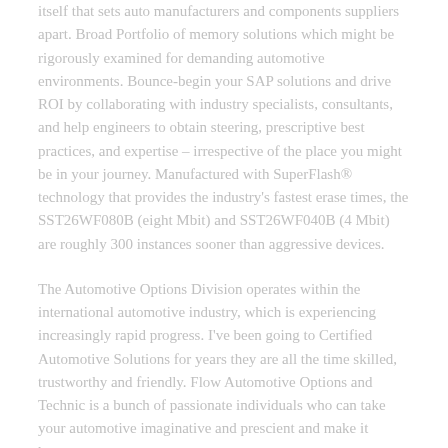itself that sets auto manufacturers and components suppliers apart. Broad Portfolio of memory solutions which might be rigorously examined for demanding automotive environments. Bounce-begin your SAP solutions and drive ROI by collaborating with industry specialists, consultants, and help engineers to obtain steering, prescriptive best practices, and expertise – irrespective of the place you might be in your journey. Manufactured with SuperFlash® technology that provides the industry's fastest erase times, the SST26WF080B (eight Mbit) and SST26WF040B (4 Mbit) are roughly 300 instances sooner than aggressive devices.
The Automotive Options Division operates within the international automotive industry, which is experiencing increasingly rapid progress. I've been going to Certified Automotive Solutions for years they are all the time skilled, trustworthy and friendly. Flow Automotive Options and Technic is a bunch of passionate individuals who can take your automotive imaginative and prescient and make it happen.
At CSPT Automotive Solutions we know our clients can't afford logistical delays, faults or supply line obstructions; you require a accomplice that understands your organization's transport wants